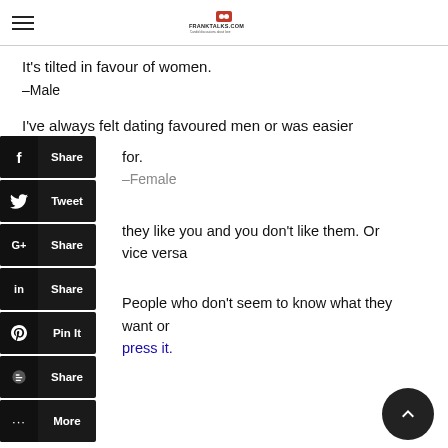FRANKTALKS.COM (logo and hamburger menu)
It's tilted in favour of women.
–Male
I've always felt dating favoured men or was easier for... –Female
[Figure (screenshot): Social share sidebar buttons: Facebook Share, Twitter Tweet, Google+ Share, LinkedIn Share, Pinterest Pin It, Blogger Share, More]
...they like you and you don't like them. Or vice versa
People who don't seem to know what they want or express it.